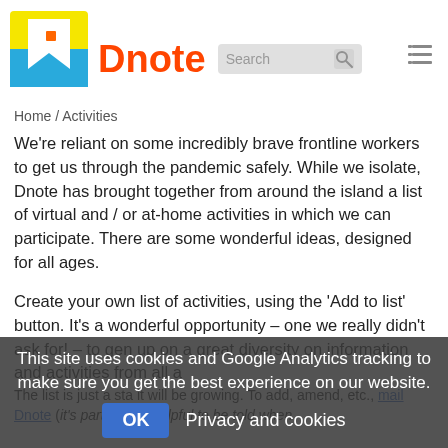[Figure (logo): Dnote logo: yellow and blue speech bubble with white arrow/bookmark shape, next to site title 'Dnote' in orange-red, search bar, and hamburger menu icon]
Home / Activities
We're reliant on some incredibly brave frontline workers to get us through the pandemic safely. While we isolate, Dnote has brought together from around the island a list of virtual and / or at-home activities in which we can participate. There are some wonderful ideas, designed for all ages.
Create your own list of activities, using the 'Add to list' button. It's a wonderful opportunity – one we really didn't ask for! – to gen up on a great diversity on information and activities from all a
The list is just a sta it will be growing. To add, amend, etc., mail Dnote (it's particularly helpful to be told when
This site uses cookies and Google Analytics tracking to make sure you get the best experience on our website.
OK   Privacy and cookies